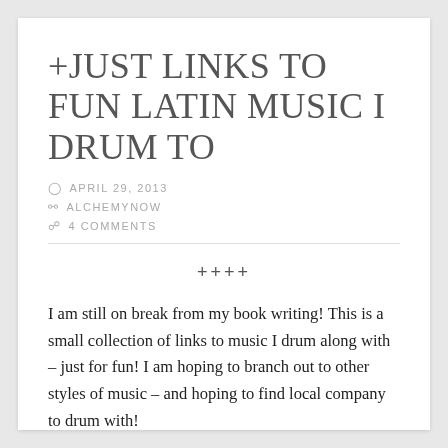+JUST LINKS TO FUN LATIN MUSIC I DRUM TO
APRIL 29, 2013
ALCHEMYNOW
4 COMMENTS
++++
I am still on break from my book writing!  This is a small collection of links to music I drum along with – just for fun!  I am hoping to branch out to other styles of music – and hoping to find local company to drum with!